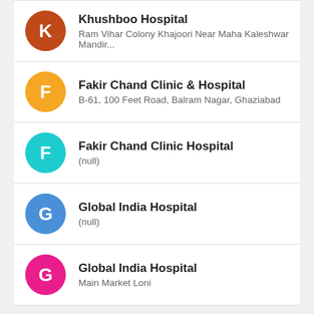Khushboo Hospital
Ram Vihar Colony Khajoori Near Maha Kaleshwar Mandir...
Fakir Chand Clinic & Hospital
B-61, 100 Feet Road, Balram Nagar, Ghaziabad
Fakir Chand Clinic Hospital
(null)
Global India Hospital
(null)
Global India Hospital
Main Market Loni